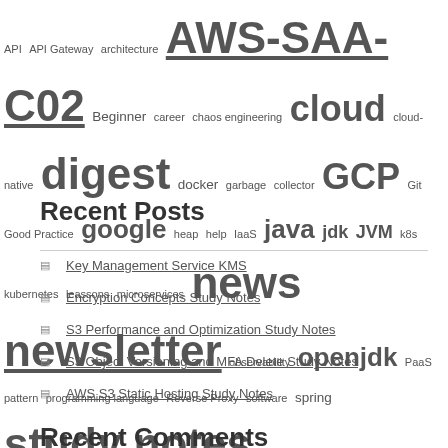API API Gateway architecture AWS-SAA-C02 Beginner career chaos engineering cloud cloud-native digest docker garbage collector GCP Git Good Practice google heap help IaaS java jdk JVM k8s kubernetes leassons microservices news newsletter observability openjdk PaaS pattern programming language Reverse Proxy software spring study notes test testcontainer
Recent Posts
Key Management Service KMS
Encryption Concepts Study Notes
S3 Performance and Optimization Study Notes
S3 Object Versioning and MFA Delete Study Notes
AWS S3 Static Hosting Study Notes
Recent Comments